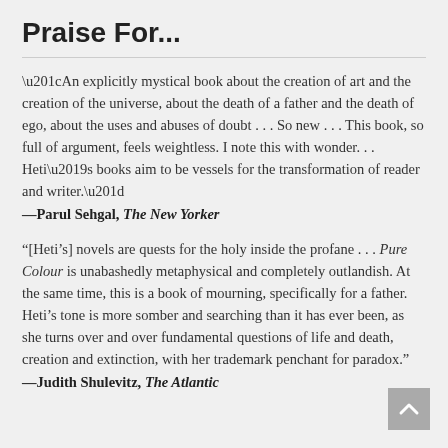Praise For...
“An explicitly mystical book about the creation of art and the creation of the universe, about the death of a father and the death of ego, about the uses and abuses of doubt . . . So new . . . This book, so full of argument, feels weightless. I note this with wonder. . . Heti’s books aim to be vessels for the transformation of reader and writer.”
—Parul Sehgal, The New Yorker
“[Heti’s] novels are quests for the holy inside the profane . . . Pure Colour is unabashedly metaphysical and completely outlandish. At the same time, this is a book of mourning, specifically for a father. Heti’s tone is more somber and searching than it has ever been, as she turns over and over fundamental questions of life and death, creation and extinction, with her trademark penchant for paradox.”
—Judith Shulevitz, The Atlantic